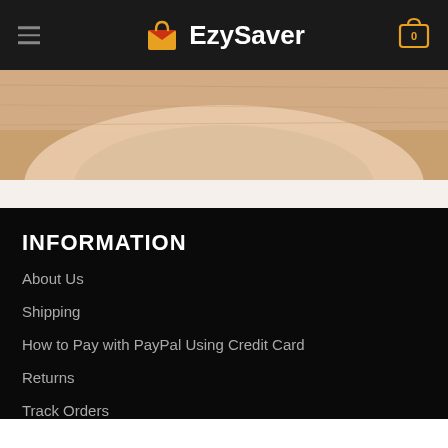EzySaver
[Figure (photo): Close-up photo of a person's chin/neck area against a wooden surface background]
INFORMATION
About Us
Shipping
How to Pay with PayPal Using Credit Card
Returns
Track Orders